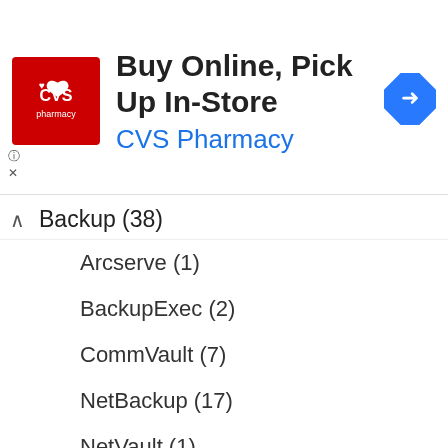[Figure (other): CVS Pharmacy advertisement banner: Buy Online, Pick Up In-Store with CVS Pharmacy logo and navigation icon]
Backup (38)
Arcserve (1)
BackupExec (2)
CommVault (7)
NetBackup (17)
NetVault (1)
drbd (2)
NetApp (35)
PowerScale (3)